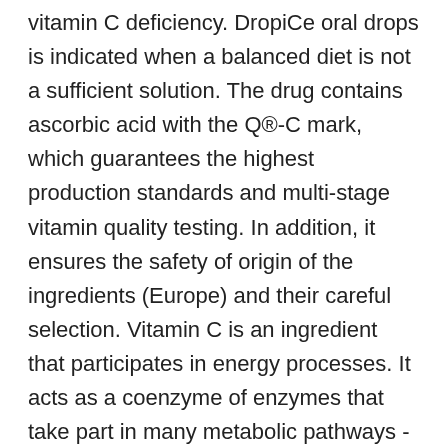vitamin C deficiency. DropiCe oral drops is indicated when a balanced diet is not a sufficient solution. The drug contains ascorbic acid with the Q®-C mark, which guarantees the highest production standards and multi-stage vitamin quality testing. In addition, it ensures the safety of origin of the ingredients (Europe) and their careful selection. Vitamin C is an ingredient that participates in energy processes. It acts as a coenzyme of enzymes that take part in many metabolic pathways - the synthesis of collagen, carnitine and noradrenaline, alpha-amidation of peptides, in the metabolism of tyrosine, cholesterol and steroids. In addition, vitamin C has an antioxidant effect, by protecting lipids